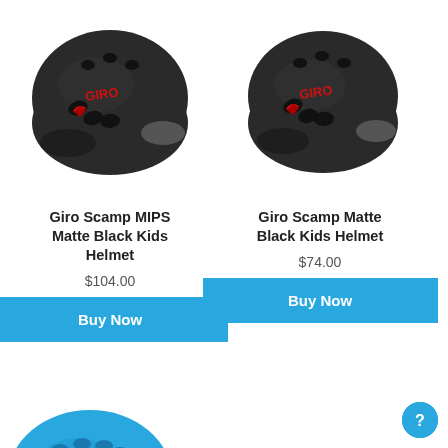[Figure (photo): Giro Scamp MIPS Matte Black kids bicycle helmet, left-side view, dark matte black with red Giro logo]
[Figure (photo): Giro Scamp Matte Black kids bicycle helmet, right-side view, dark matte black with red Giro logo]
Giro Scamp MIPS Matte Black Kids Helmet
$104.00
Buy Now
Giro Scamp Matte Black Kids Helmet
$74.00
Buy Now
[Figure (photo): Giro kids helmet in blue, partially visible at bottom of page]